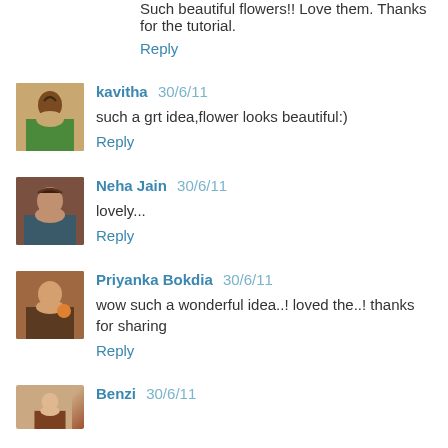Such beautiful flowers!! Love them. Thanks for the tutorial.
Reply
kavitha 30/6/11
such a grt idea,flower looks beautiful:)
Reply
Neha Jain 30/6/11
lovely...
Reply
Priyanka Bokdia 30/6/11
wow such a wonderful idea..! loved the..! thanks for sharing
Reply
Benzi 30/6/11